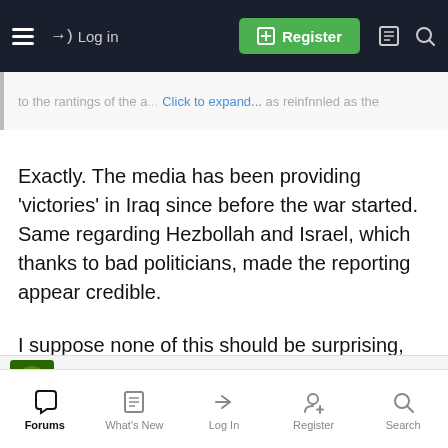Log in | Register
to the rantings of the a... Click to expand... as reinfnnled as the
Exactly. The media has been providing 'victories' in Iraq since before the war started. Same regarding Hezbollah and Israel, which thanks to bad politicians, made the reporting appear credible.

I suppose none of this should be surprising, they do the same with elections in this country.
trobinett
Forums | What's New | Log In | Register | Search